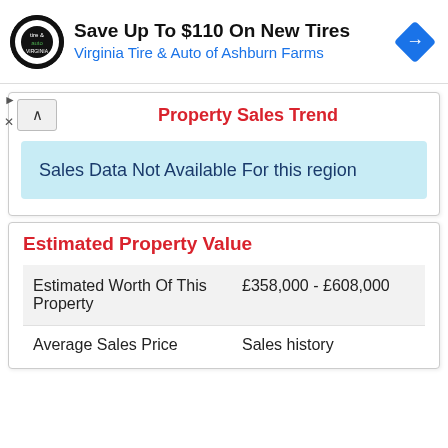[Figure (logo): Virginia Tire & Auto circular logo, advertisement banner with 'Save Up To $110 On New Tires' and 'Virginia Tire & Auto of Ashburn Farms', blue diamond navigation icon on right]
Property Sales Trend
Sales Data Not Available For this region
Estimated Property Value
| Estimated Worth Of This Property | £358,000 - £608,000 |
| Average Sales Price | Sales history |